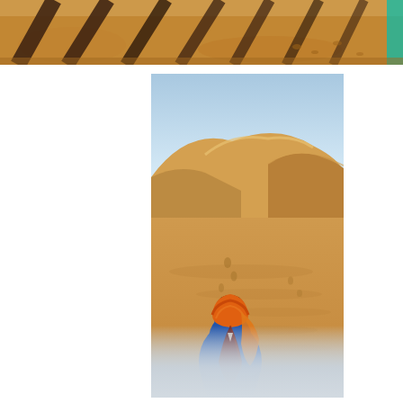[Figure (photo): Top strip photo showing camel shadows cast on sandy ground, shot from above or at low angle. Long dark diagonal shadow lines across warm sandy/orange-lit ground. A small hint of teal/turquoise color at right edge.]
[Figure (photo): Main portrait-orientation photo of a desert scene. A person wearing a blue robe and an orange/red turban is seen from behind, sitting (possibly on a camel), looking out over vast sandy desert dunes under a clear light-blue sky. Large golden sand dunes rise in the background. Footprints visible in the sand. The bottom portion fades to a light gray-white blur.]